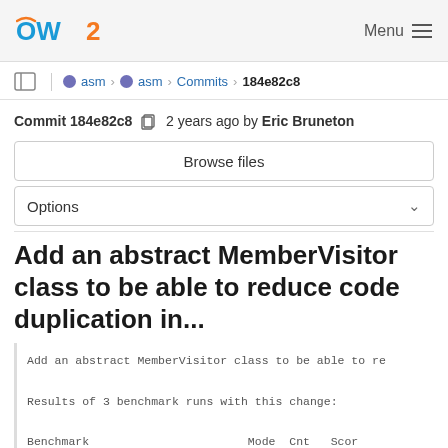OW2 | Menu
asm > asm > Commits > 184e82c8
Commit 184e82c8  2 years ago by Eric Bruneton
Browse files
Options
Add an abstract MemberVisitor class to be able to reduce code duplication in...
Add an abstract MemberVisitor class to be able to re

Results of 3 benchmark runs with this change:

Benchmark                    Mode  Cnt  Scor